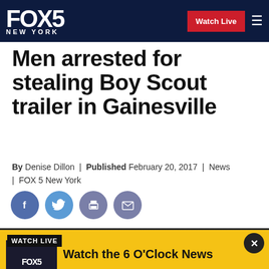FOX 5 NEW YORK | Watch Live
Men arrested for stealing Boy Scout trailer in Gainesville
By Denise Dillon | Published February 20, 2017 | News | FOX 5 New York
[Figure (infographic): Social share icons: Facebook, Twitter, Print, Email]
[Figure (photo): Dark video preview area / news segment thumbnail]
WATCH LIVE
Watch the 6 O'Clock News